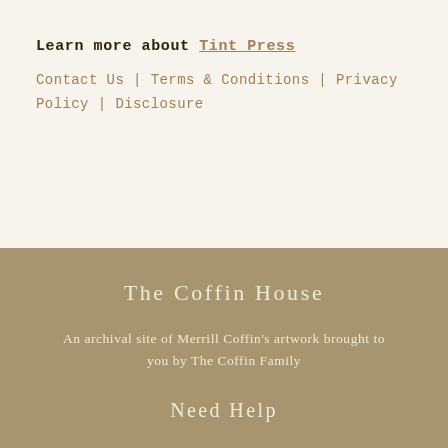Learn more about Tint Press
Contact Us | Terms & Conditions | Privacy Policy | Disclosure
The Coffin House
An archival site of Merrill Coffin's artwork brought to you by The Coffin Family
Need Help